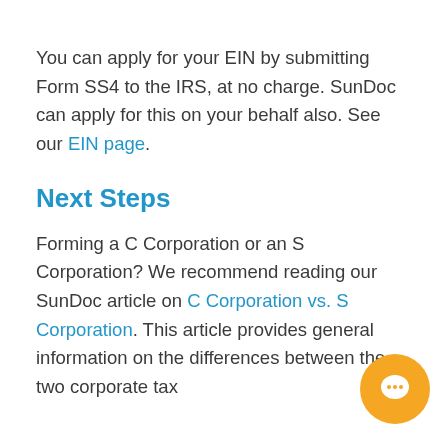You can apply for your EIN by submitting Form SS4 to the IRS, at no charge. SunDoc can apply for this on your behalf also. See our EIN page.
Next Steps
Forming a C Corporation or an S Corporation? We recommend reading our SunDoc article on C Corporation vs. S Corporation. This article provides general information on the differences between the two corporate tax